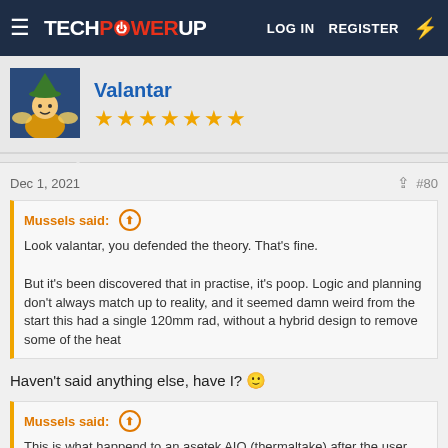TechPowerUp — LOG IN  REGISTER
[Figure (photo): User avatar: cartoon wizard character with green hat]
Valantar
★★★★★★★
Dec 1, 2021  #80
Mussels said: ↑
Look valantar, you defended the theory. That's fine.

But it's been discovered that in practise, it's poop. Logic and planning don't always match up to reality, and it seemed damn weird from the start this had a single 120mm rad, without a hybrid design to remove some of the heat
Haven't said anything else, have I? 🙂
Mussels said: ↑
This is what happend to an asetek AIO (thermaltake) after the user lost the fan controller and ran pump only, before asking me to fix it. It